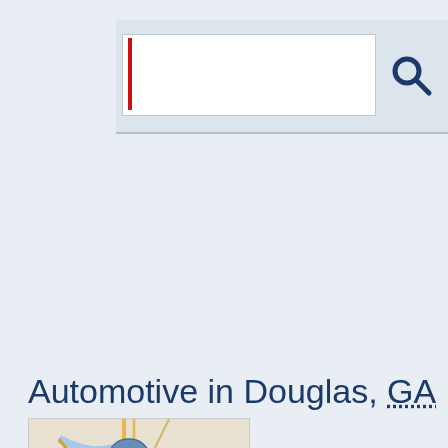[Figure (screenshot): Search bar UI with red cursor and search icon]
Automotive in Douglas, GA
[Figure (map): Map showing location pin over Douglas, GA area with roads and terrain]
CARQUEST AUTO PARTS
114 Bryan St E
Douglas, GA 31533